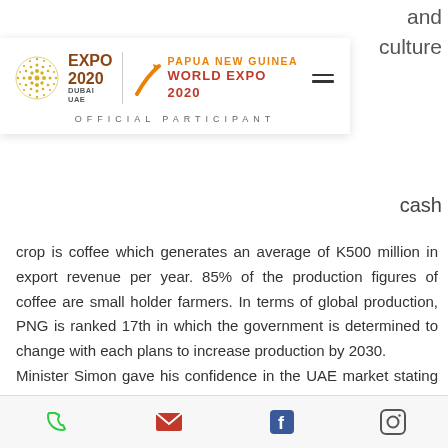EXPO 2020 DUBAI UAE | PAPUA NEW GUINEA WORLD EXPO 2020 | OFFICIAL PARTICIPANT
and culture
cash crop is coffee which generates an average of K500 million in export revenue per year. 85% of the production figures of coffee are small holder farmers. In terms of global production, PNG is ranked 17th in which the government is determined to change with each plans to increase production by 2030.
Minister Simon gave his confidence in the UAE market stating that the expo would provide a launching pad for PNG's...
Phone | Email | Facebook | Instagram